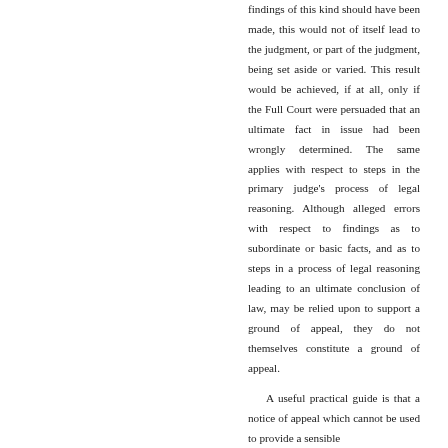findings of this kind should have been made, this would not of itself lead to the judgment, or part of the judgment, being set aside or varied. This result would be achieved, if at all, only if the Full Court were persuaded that an ultimate fact in issue had been wrongly determined. The same applies with respect to steps in the primary judge's process of legal reasoning. Although alleged errors with respect to findings as to subordinate or basic facts, and as to steps in a process of legal reasoning leading to an ultimate conclusion of law, may be relied upon to support a ground of appeal, they do not themselves constitute a ground of appeal.
A useful practical guide is that a notice of appeal which cannot be used to provide a sensible